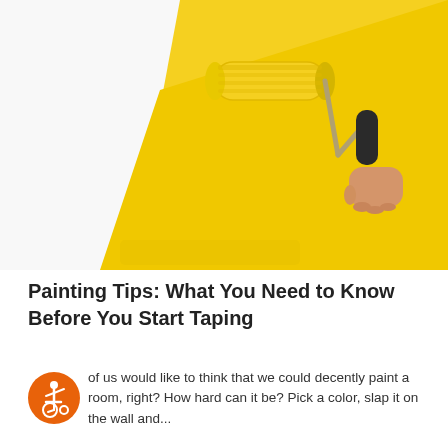[Figure (photo): A hand holding a paint roller applying bright yellow paint onto a white wall surface. The roller is yellow and the handle is metallic/black.]
Painting Tips: What You Need to Know Before You Start Taping
of us would like to think that we could decently paint a room, right? How hard can it be? Pick a color, slap it on the wall and...